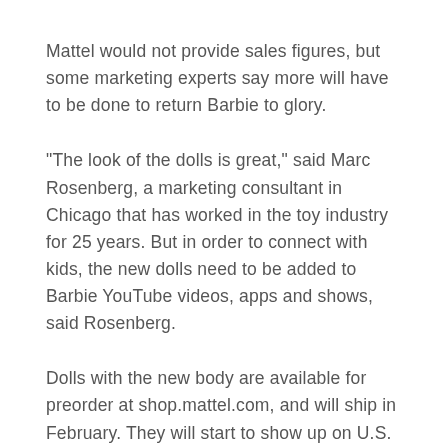Mattel would not provide sales figures, but some marketing experts say more will have to be done to return Barbie to glory.
"The look of the dolls is great," said Marc Rosenberg, a marketing consultant in Chicago that has worked in the toy industry for 25 years. But in order to connect with kids, the new dolls need to be added to Barbie YouTube videos, apps and shows, said Rosenberg.
Dolls with the new body are available for preorder at shop.mattel.com, and will ship in February. They will start to show up on U.S. store shelves in March and roll out in the rest of the world after that, Mattel Inc. said.